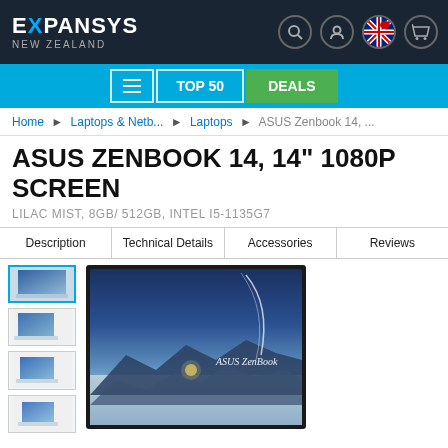EXPANSYS NEW ZEALAND
[Figure (screenshot): Navigation bar with menu, TOP 50, and DEALS buttons on cyan background]
Home ▶ Laptops & Netb... ▶ Laptops ▶ ASUS Zenbook 14, ...
ASUS ZENBOOK 14, 14" 1080P SCREEN
LILAC MIST, 8GB/ 512GB, INTEL I5-1135G7
Description | Technical Details | Accessories | Reviews
[Figure (photo): ASUS ZenBook 14 laptop product thumbnail images (4 views) on the left, and main product image showing laptop screen with landscape/mountain scenery and ASUS ZenBook branding]